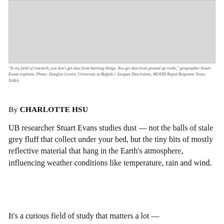[Figure (photo): Light grey rectangular image placeholder]
“In my field of research, you don’t get dust from burning things. You get dust from ground up rocks,” geographer Stuart Evans explains. Photo: Douglas Levere, University at Buffalo / Jacques Descloitres, MODIS Rapid Response Team, NASA
By CHARLOTTE HSU
UB researcher Stuart Evans studies dust — not the balls of stale grey fluff that collect under your bed, but the tiny bits of mostly reflective material that hang in the Earth’s atmosphere, influencing weather conditions like temperature, rain and wind.
It’s a curious field of study that matters a lot —